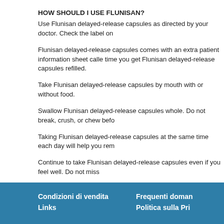HOW SHOULD I USE FLUNISAN?
Use Flunisan delayed-release capsules as directed by your doctor. Check the label on
Flunisan delayed-release capsules comes with an extra patient information sheet calle time you get Flunisan delayed-release capsules refilled.
Take Flunisan delayed-release capsules by mouth with or without food.
Swallow Flunisan delayed-release capsules whole. Do not break, crush, or chew befo
Taking Flunisan delayed-release capsules at the same time each day will help you rem
Continue to take Flunisan delayed-release capsules even if you feel well. Do not miss
Do not suddenly stop taking Flunisan delayed-release capsules without checking with mental or mood changes, numbness or tingling of the skin, dizziness, confusion, head closely monitored when you start Flunisan delayed-release capsules and whenever a
If you miss a dose of Flunisan delayed-release capsules, take it as soon as possible. and go back to your regular dosing schedule. Do not take 2 doses at once.
Condizioni di vendita
Links
Frequenti doman
Politica sulla Pri